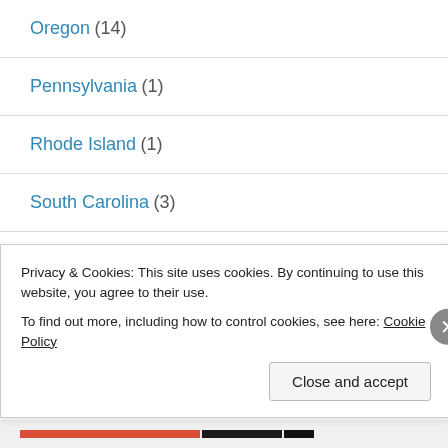Oregon (14)
Pennsylvania (1)
Rhode Island (1)
South Carolina (3)
South Dakota (2)
Tennessee (18)
Privacy & Cookies: This site uses cookies. By continuing to use this website, you agree to their use. To find out more, including how to control cookies, see here: Cookie Policy
Close and accept